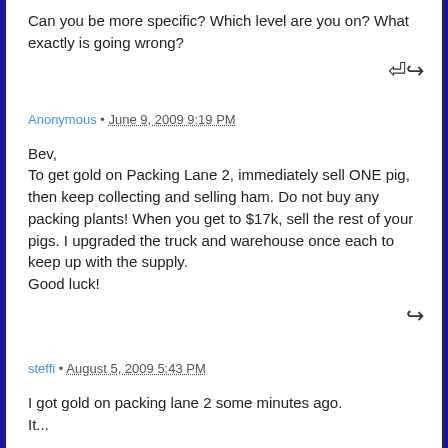Can you be more specific? Which level are you on? What exactly is going wrong?
Anonymous • June 9, 2009 9:19 PM
Bev,
To get gold on Packing Lane 2, immediately sell ONE pig, then keep collecting and selling ham. Do not buy any packing plants! When you get to $17k, sell the rest of your pigs. I upgraded the truck and warehouse once each to keep up with the supply.
Good luck!
steffi • August 5, 2009 5:43 PM
I got gold on packing lane 2 some minutes ago. It...